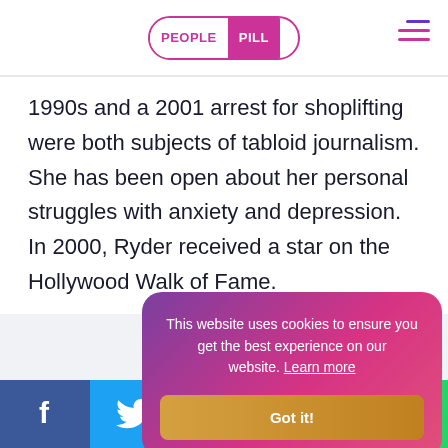PEOPLE PILL
1990s and a 2001 arrest for shoplifting were both subjects of tabloid journalism. She has been open about her personal struggles with anxiety and depression. In 2000, Ryder received a star on the Hollywood Walk of Fame.
This website uses cookies to ensure you get the best experience on our website. Learn more
Got it!